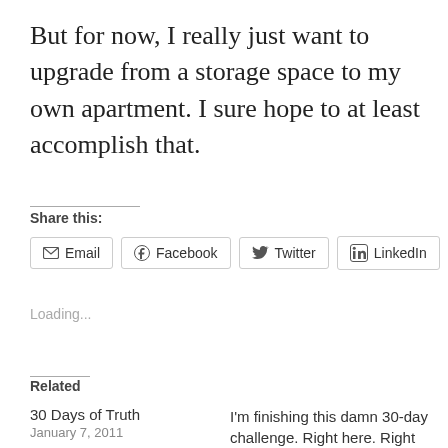But for now, I really just want to upgrade from a storage space to my own apartment. I sure hope to at least accomplish that.
Share this:
Email Facebook Twitter LinkedIn
Loading...
Related
30 Days of Truth
January 7, 2011
I'm finishing this damn 30-day challenge. Right here. Right